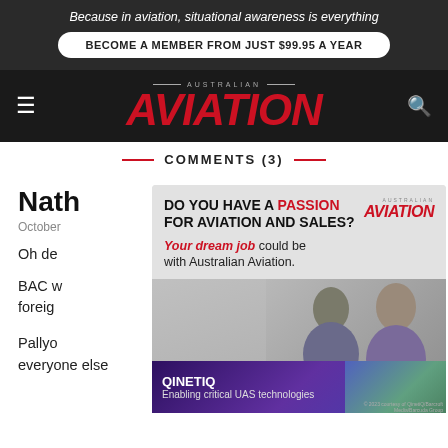Because in aviation, situational awareness is everything
BECOME A MEMBER FROM JUST $99.95 A YEAR
[Figure (logo): Australian Aviation logo with red italic AVIATION text]
COMMENTS (3)
Nath
October
Oh de
BAC w
foreig
Pallyo
everyone else
[Figure (infographic): Australian Aviation job advertisement - DO YOU HAVE A PASSION FOR AVIATION AND SALES? Your dream job could be with Australian Aviation. FIND OUT MORE button. Photo of two people in a business meeting.]
[Figure (infographic): QinetiQ banner - Enabling critical UAS technologies with drone imagery]